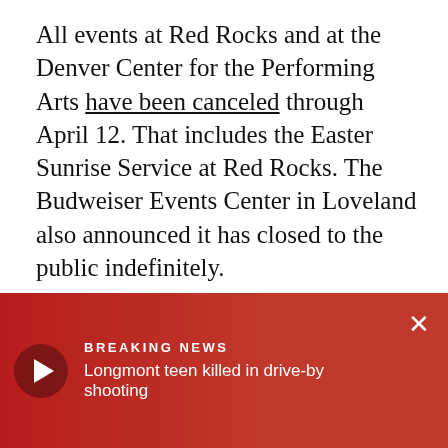All events at Red Rocks and at the Denver Center for the Performing Arts have been canceled through April 12. That includes the Easter Sunrise Service at Red Rocks. The Budweiser Events Center in Loveland also announced it has closed to the public indefinitely.
RELATED: All Denver-Owned Facilities To Cancel Events Through April 12, Museums Also Close
In addition to those events and the sporting events mentioned, the follo... events that are bei...
March 12-14 - Wome...
[Figure (other): Breaking news overlay banner with red gradient background, play button circle, BREAKING NEWS label, and headline 'Longmont teen killed in drive-by shooting', with an X close button]